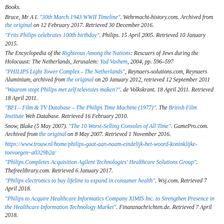Books.
Bruce, Mr A I. "30th March 1943 WWII Timeline". Wehrmacht-history.com. Archived from the original on 12 February 2017. Retrieved 30 December 2016.
"Frits Philips celebrates 100th birthday". Philips. 15 April 2005. Retrieved 10 January 2015.
The Encyclopedia of the Righteous Among the Nations: Rescuers of Jews during the Holocaust: The Netherlands, Jerusalem: Yad Vashem, 2004, pp. 596–597
"PHILIPS Light Tower Complex - The Netherlands", Reynaers-solutions.com, Reynaers Aluminium, archived from the original on 20 January 2012, retrieved 12 September 2011
"Waarom stopt Philips met zelf televisies maken?". de Volkskrant. 18 April 2011. Retrieved 18 April 2011.
"BFI – Film & TV Database – The Philips Time Machine (1977)". The British Film Institute Web Database. Retrieved 16 February 2010.
Snow, Blake (5 May 2007). "The 10 Worst-Selling Consoles of All Time". GamePro.com. Archived from the original on 8 May 2007. Retrieved 1 November 2016.
https://www.trouw.nl/home/philips-gaat-aan-naam-eindelijk-het-woord-koninklijke-toevoegen~a0329b2a/
"Philips Completes Acquisition Agilent Technologies' Healthcare Solutions Group". Thefreelibrary.com. Retrieved 6 January 2017.
"Philips electronics to buy lifeline to expand in consumer health". Wsj.com. Retrieved 7 April 2018.
"Philips to Acquire Healthcare Informatics Company XIMIS Inc. to Strengthen Presence in the Healthcare Information Technology Market". Finanznachrichten.de. Retrieved 7 April 2018.